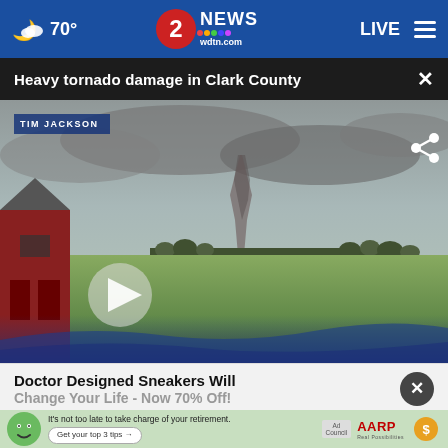70° | 2 NEWS wdtn.com | LIVE
Heavy tornado damage in Clark County
[Figure (screenshot): Video still of a tornado visible over farmland in Clark County, with a red barn visible on the left side, green fields, and a gray stormy sky. A play button overlay is visible. Reporter credit reads TIM JACKSON.]
Doctor Designed Sneakers Will Change Your Life - Now 70% Off!
It's not too late to take charge of your retirement. Get your top 3 tips →  Ad Council  AARP Real Possibilities